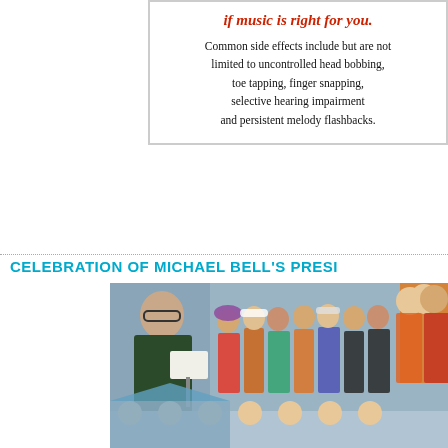if music is right for you. Common side effects include but are not limited to uncontrolled head bobbing, toe tapping, finger snapping, selective hearing impairment and persistent melody flashbacks.
CELEBRATION OF MICHAEL BELL'S PRESI
[Figure (photo): A photo collage showing a large group of people in colorful costumes and outfits, appearing to be at a party or celebration event. Includes a man reading sheet music, groups in hippie-style clothing, and various festive costumes.]